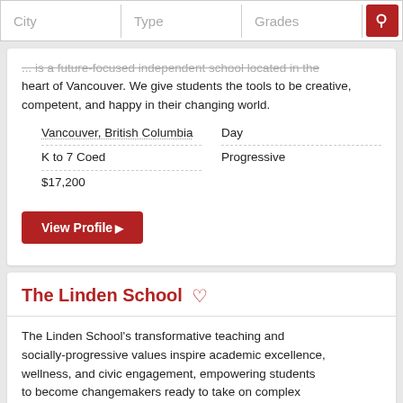...is a future-focused independent school located in the heart of Vancouver. We give students the tools to be creative, competent, and happy in their changing world.
Vancouver, British Columbia
K to 7 Coed
$17,200
Day
Progressive
View Profile
The Linden School
The Linden School's transformative teaching and socially-progressive values inspire academic excellence, wellness, and civic engagement, empowering students to become changemakers ready to take on complex global issues.
Toronto, Ontario
JK to 12 Girls
$31,950 to $38,350
Day
Progressive